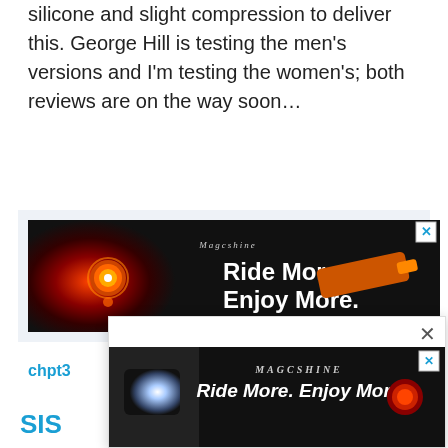silicone and slight compression to deliver this. George Hill is testing the men's versions and I'm testing the women's; both reviews are on the way soon…
[Figure (advertisement): Magicshine banner ad showing bicycle lights with text 'Ride More. Enjoy More' on dark background with close button]
chpt3
SIS
VS
[Figure (advertisement): Popup Magicshine ad showing 'Ride More. Enjoy More' with bicycle headlight and taillight on dark background with close button]